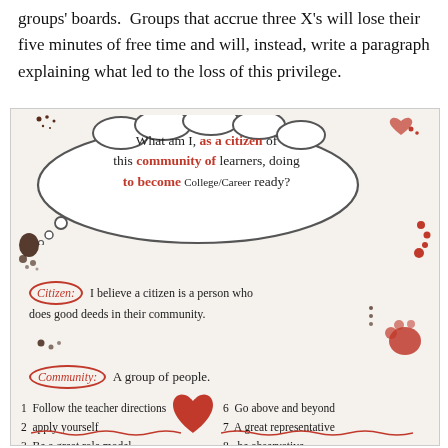groups' boards.  Groups that accrue three X's will lose their five minutes of free time and will, instead, write a paragraph explaining what led to the loss of this privilege.
[Figure (photo): Photograph of a classroom whiteboard/poster with a thought bubble asking 'What am I, as a citizen of this community of learners, doing to become College/Career ready?' Below are definitions: Citizen: I believe a citizen is a person who does good deeds in their community. Community: A group of people. A numbered list of items: 1 Follow the teacher directions, 2 apply yourself, 3 Be a great role model, 6 Go above and beyond, 7 A great representative, 8 be observative, 9 Take notes and tips. Decorative red footprint/dots artwork.]